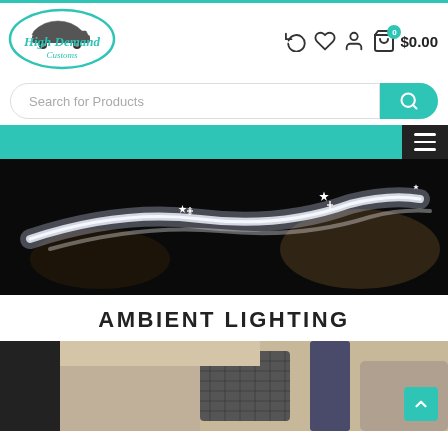High Demand Customs - website header with logo, icons, and $0.00 cart
[Figure (screenshot): High Demand Customs logo with car silhouette and stylized script text]
[Figure (screenshot): Header icons: refresh, heart, user, shopping bag with badge showing 0 and price $0.00]
[Figure (screenshot): Search bar with placeholder 'Search for Products' and teal search button]
[Figure (screenshot): Teal navigation bar with dark hamburger menu button on right]
[Figure (photo): Close-up photo of sparkling car headlight or LED lighting strip on dark background]
AMBIENT LIGHTING
[Figure (photo): Partial photo of car interior showing seats and carbon fiber trim panel, with teal scroll-to-top button]